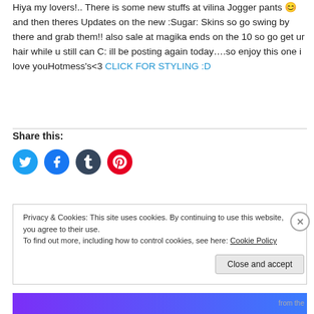Hiya my lovers!.. There is some new stuffs at vilina Jogger pants 😊 and then theres Updates on the new :Sugar: Skins so go swing by there and grab them!! also sale at magika ends on the 10 so go get ur hair while u still can C: ill be posting again today….so enjoy this one i love youHotmess's<3 CLICK FOR STYLING :D
Share this:
[Figure (other): Social share buttons: Twitter (blue), Facebook (blue), Tumblr (dark), Pinterest (red)]
Privacy & Cookies: This site uses cookies. By continuing to use this website, you agree to their use.
To find out more, including how to control cookies, see here: Cookie Policy
Close and accept